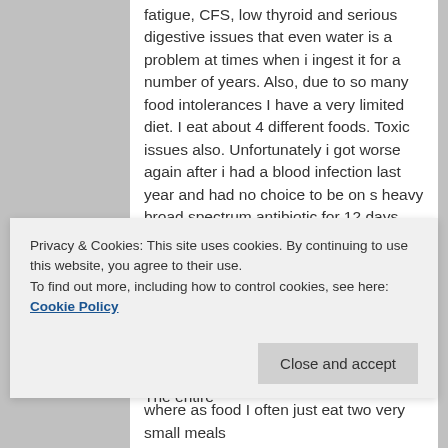fatigue, CFS, low thyroid and serious digestive issues that even water is a problem at times when i ingest it for a number of years. Also, due to so many food intolerances I have a very limited diet. I eat about 4 different foods. Toxic issues also. Unfortunately i got worse again after i had a blood infection last year and had no choice to be on s heavy broad spectrum antibiotic for 12 days. My digestive issues just don't ever get better even with avoidance of many many things. I came across this website Zerocarb looking for information and help. I am curios about this dry fasting which i had never heard of HOWEVER, I DO NOT have a LARGE INTESTINE. The entire
Privacy & Cookies: This site uses cookies. By continuing to use this website, you agree to their use.
To find out more, including how to control cookies, see here: Cookie Policy
where as food I often just eat two very small meals